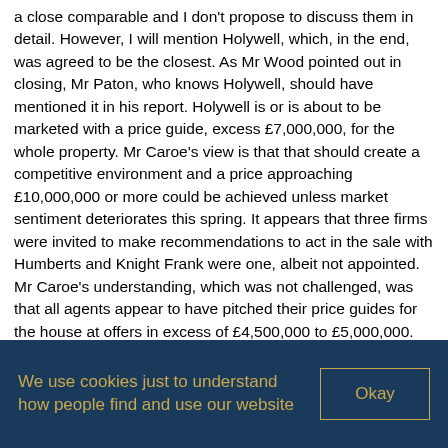a close comparable and I don't propose to discuss them in detail. However, I will mention Holywell, which, in the end, was agreed to be the closest. As Mr Wood pointed out in closing, Mr Paton, who knows Holywell, should have mentioned it in his report. Holywell is or is about to be marketed with a price guide, excess £7,000,000, for the whole property. Mr Caroe's view is that that should create a competitive environment and a price approaching £10,000,000 or more could be achieved unless market sentiment deteriorates this spring. It appears that three firms were invited to make recommendations to act in the sale with Humberts and Knight Frank were one, albeit not appointed. Mr Caroe's understanding, which was not challenged, was that all agents appear to have pitched their price guides for the house at offers in excess of £4,500,000 to £5,000,000. Knight Frank's was the higher recommendation. Knight Frank had also opted for a price excess £7,500,000 for the whole. Mr Caroe's view of Holywell was that it was not the quality of Walcot Hall and he pointed to certain particular disadvantages. He considered Walcot Hall and its grounds to
We use cookies just to understand how people find and use our website
Okay